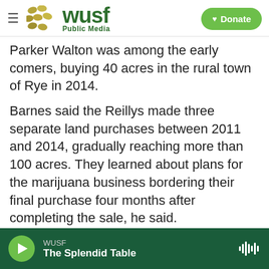WUSF Public Media | Donate
Parker Walton was among the early comers, buying 40 acres in the rural town of Rye in 2014.
Barnes said the Reillys made three separate land purchases between 2011 and 2014, gradually reaching more than 100 acres. They learned about plans for the marijuana business bordering their final purchase four months after completing the sale, he said.
Walton put up a 5,000-square-foot (465-square-meter) building to grow and harvest marijuana plants indoors. The Reillys filed their lawsuit in early 2015. A year later, Walton announced the
WUSF | The Splendid Table